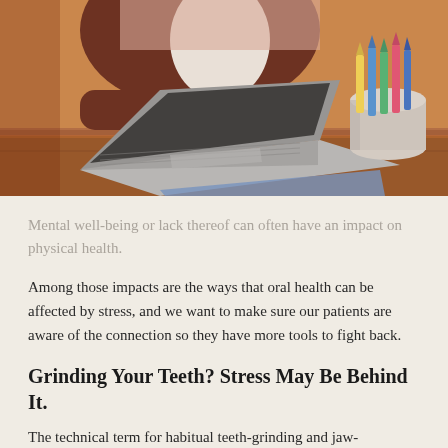[Figure (photo): Person sitting at a desk with a laptop and a cup of colored pencils, viewed from the side, appearing stressed or tired]
Mental well-being or lack thereof can often have an impact on physical health.
Among those impacts are the ways that oral health can be affected by stress, and we want to make sure our patients are aware of the connection so they have more tools to fight back.
Grinding Your Teeth? Stress May Be Behind It.
The technical term for habitual teeth-grinding and jaw-